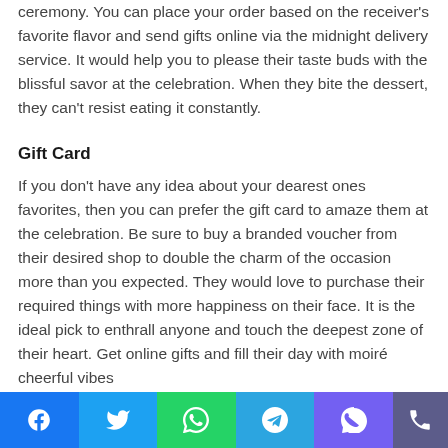ceremony. You can place your order based on the receiver's favorite flavor and send gifts online via the midnight delivery service. It would help you to please their taste buds with the blissful savor at the celebration. When they bite the dessert, they can't resist eating it constantly.
Gift Card
If you don't have any idea about your dearest ones favorites, then you can prefer the gift card to amaze them at the celebration. Be sure to buy a branded voucher from their desired shop to double the charm of the occasion more than you expected. They would love to purchase their required things with more happiness on their face. It is the ideal pick to enthrall anyone and touch the deepest zone of their heart. Get online gifts and fill their day with moiré cheerful vibes
Social share buttons: Facebook, Twitter, WhatsApp, Telegram, Viber, Phone